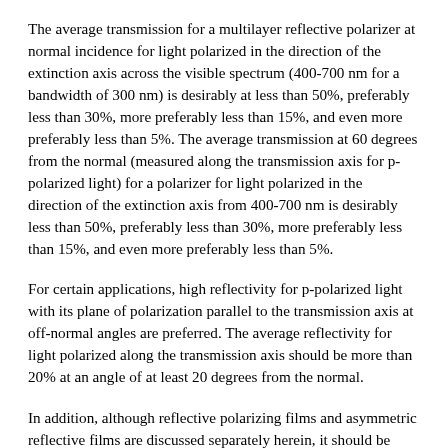The average transmission for a multilayer reflective polarizer at normal incidence for light polarized in the direction of the extinction axis across the visible spectrum (400-700 nm for a bandwidth of 300 nm) is desirably at less than 50%, preferably less than 30%, more preferably less than 15%, and even more preferably less than 5%. The average transmission at 60 degrees from the normal (measured along the transmission axis for p-polarized light) for a polarizer for light polarized in the direction of the extinction axis from 400-700 nm is desirably less than 50%, preferably less than 30%, more preferably less than 15%, and even more preferably less than 5%.
For certain applications, high reflectivity for p-polarized light with its plane of polarization parallel to the transmission axis at off-normal angles are preferred. The average reflectivity for light polarized along the transmission axis should be more than 20% at an angle of at least 20 degrees from the normal.
In addition, although reflective polarizing films and asymmetric reflective films are discussed separately herein, it should be understood that two or more of such films could be provided to reflect substantially all light incident on them (provided they are properly oriented with respect to each other to do so). This construction is typically desired when the multilayer optical film is used as a reflector in a backlight system according to the present